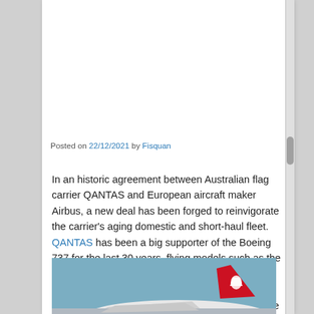Posted on 22/12/2021 by Fisquan
In an historic agreement between Australian flag carrier QANTAS and European aircraft maker Airbus, a new deal has been forged to reinvigorate the carrier's aging domestic and short-haul fleet. QANTAS has been a big supporter of the Boeing 737 for the last 30 years, flying models such as the 737-300/400/700 and of course the current workhorse, the 737-800. Competition between Boeing and Airbus for this lucrative deal was fierce with Boeing putting forward their 737 MAX as a logical upgrade option for the QANTAS Fleet.
[Figure (photo): Photo of a QANTAS aircraft in flight against a blue sky, showing the red tail fin with QANTAS kangaroo logo]